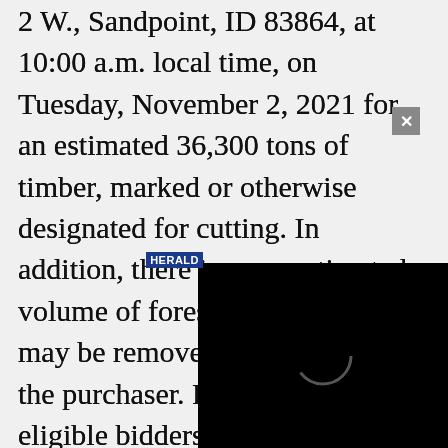2 W., Sandpoint, ID 83864, at 10:00 a.m. local time, on Tuesday, November 2, 2021 for an estimated 36,300 tons of timber, marked or otherwise designated for cutting. In addition, there is an unestimated volume of forest products that may be removed at the option of the purchaser. Prior to bidding, eligible bidders shall present a certified check or bank draft payable to Treasurer, State of Idaho, or a bid bond acceptable to the State, in the amount of $74,439.60 which is 10% of the appraised value of $744,396.00. The minimum advertised price is $26.05 per ton. The successful bidder's deposit will
[Figure (other): Black overlay box with a Herald logo label and a circular loading spinner icon, partially obscuring the document text.]